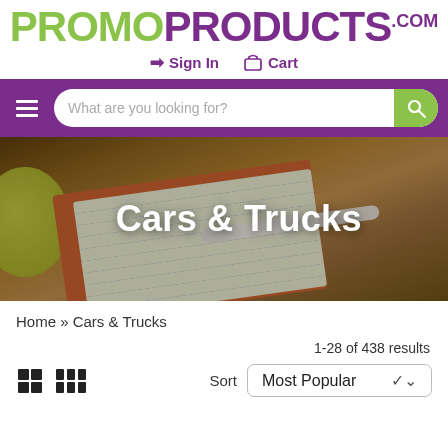[Figure (logo): PromoProducts.com logo with 'PROMO' in green and 'PRODUCTS' in purple with .com superscript]
→) Sign In   🛒 Cart
[Figure (screenshot): Purple navigation bar with hamburger menu icon and search bar reading 'What are you looking for?' with green search button]
[Figure (photo): Hero banner image showing a notebook, pen, and coffee cup on a wooden table background with text 'Cars & Trucks']
Home » Cars & Trucks
1-28 of 438 results
Sort   Most Popular ∨